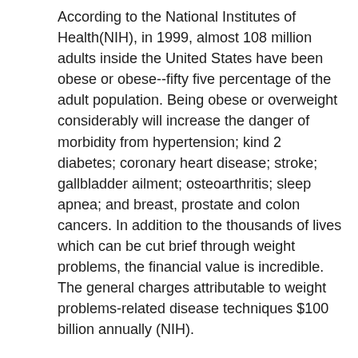According to the National Institutes of Health(NIH), in 1999, almost 108 million adults inside the United States have been obese or obese--fifty five percentage of the adult population. Being obese or overweight considerably will increase the danger of morbidity from hypertension; kind 2 diabetes; coronary heart disease; stroke; gallbladder ailment; osteoarthritis; sleep apnea; and breast, prostate and colon cancers. In addition to the thousands of lives which can be cut brief through weight problems, the financial value is incredible. The general charges attributable to weight problems-related disease techniques $100 billion annually (NIH).
There are masses or motives to lose weight. To be more healthy. To sense better. To appearance higher. To have greater strength. No count what the purpose, a hit weight reduction and healthy weight management depend on sensible goals and expectancies. In truth,